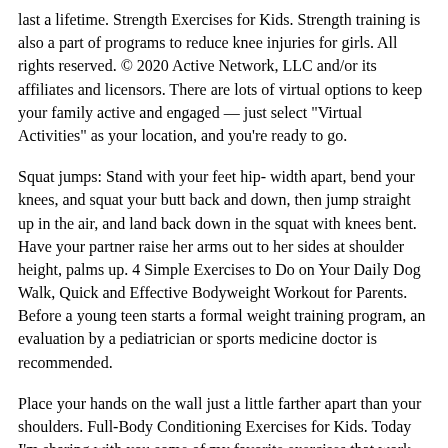last a lifetime. Strength Exercises for Kids. Strength training is also a part of programs to reduce knee injuries for girls. All rights reserved. © 2020 Active Network, LLC and/or its affiliates and licensors. There are lots of virtual options to keep your family active and engaged — just select "Virtual Activities" as your location, and you're ready to go.
Squat jumps: Stand with your feet hip- width apart, bend your knees, and squat your butt back and down, then jump straight up in the air, and land back down in the squat with knees bent. Have your partner raise her arms out to her sides at shoulder height, palms up. 4 Simple Exercises to Do on Your Daily Dog Walk, Quick and Effective Bodyweight Workout for Parents. Before a young teen starts a formal weight training program, an evaluation by a pediatrician or sports medicine doctor is recommended.
Place your hands on the wall just a little farther apart than your shoulders. Full-Body Conditioning Exercises for Kids. Today I'm sharing with you some of my favorite exercises that work on upper body strength and weight bearing for kids! Hold it while you bend right elbow and lift it straight up, bringing hand up by side.
Curious which baby names stole the show this year? Tell the children: Have your partner lie facedown on the floor. Train two to three times per week. Stand between his feet, facing his head, and